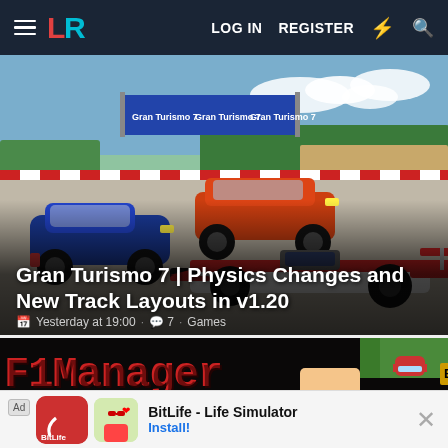LR | LOG IN  REGISTER
[Figure (photo): Gran Turismo 7 racing game screenshot showing three cars on track: a blue Porsche, an orange classic muscle car, and a white/red Formula 1 car, with race track and billboards in background]
Gran Turismo 7 | Physics Changes and New Track Layouts in v1.20
Yesterday at 19:00 · 7 · Games
[Figure (screenshot): F1 Manager retro pixel art game screenshot showing 'F1 Manager' title text in red/black, a cartoon driver face, and 'BERGER 5' text overlay]
Ad  BitLife - Life Simulator  Install!